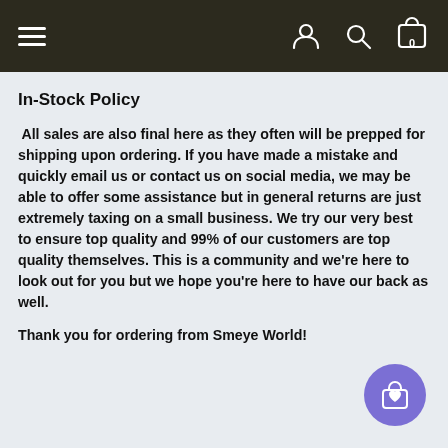Navigation bar with hamburger menu, user icon, search icon, and cart icon (0 items)
In-Stock Policy
All sales are also final here as they often will be prepped for shipping upon ordering. If you have made a mistake and quickly email us or contact us on social media, we may be able to offer some assistance but in general returns are just extremely taxing on a small business. We try our very best to ensure top quality and 99% of our customers are top quality themselves. This is a community and we're here to look out for you but we hope you're here to have our back as well.
Thank you for ordering from Smeye World!
[Figure (illustration): Purple circular floating button with shopping bag and heart icon]